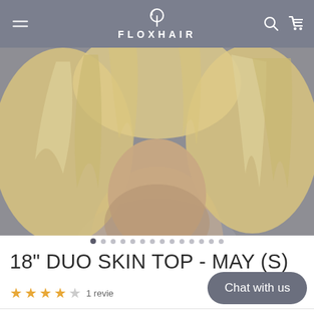FLOXHAIR
[Figure (photo): A person with short blonde wavy hair, viewed from behind/side. The hair product is being displayed — a hair topper or wig piece. Background is a neutral gray.]
18" DUO SKIN TOP - MAY (S)
★★★★☆ 1 review
Chat with us